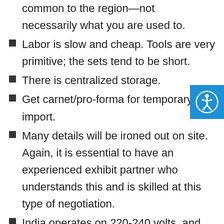common to the region—not necessarily what you are used to.
Labor is slow and cheap. Tools are very primitive; the sets tend to be short.
There is centralized storage.
Get carnet/pro-forma for temporary import.
Many details will be ironed out on site. Again, it is essential to have an experienced exhibit partner who understands this and is skilled at this type of negotiation.
India operates on 220-240 volts, and electric sockets typically require three round pins. Bring adapters and